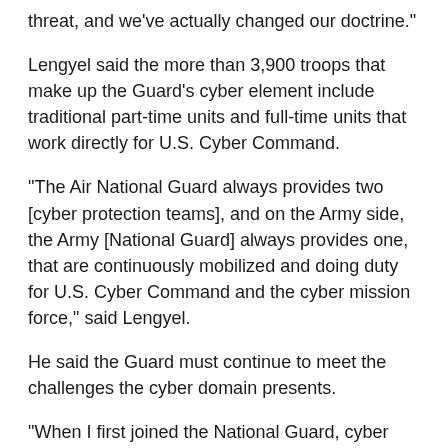threat, and we've actually changed our doctrine."
Lengyel said the more than 3,900 troops that make up the Guard's cyber element include traditional part-time units and full-time units that work directly for U.S. Cyber Command.
"The Air National Guard always provides two [cyber protection teams], and on the Army side, the Army [National Guard] always provides one, that are continuously mobilized and doing duty for U.S. Cyber Command and the cyber mission force," said Lengyel.
He said the Guard must continue to meet the challenges the cyber domain presents.
"When I first joined the National Guard, cyber was not part of our vocabulary," he said. "Now, it's one of our daily battlegrounds."